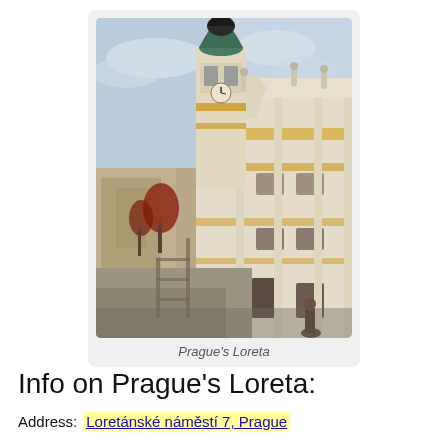[Figure (photo): Photograph of Prague's Loreta, a baroque church complex with a bell tower featuring a green dome, white and gold ornate facade, and statues along the roofline. Street view looking up at the building.]
Prague's Loreta
Info on Prague's Loreta:
Address:  Loretánské náměstí 7, Prague